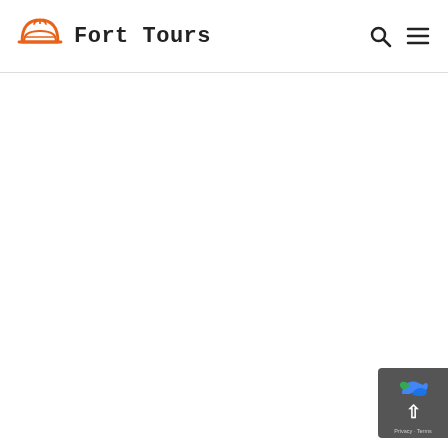Fort Tours
Yellowstone National Park turned to the U.S. Army for help. Invoking the Sundry Civil Act